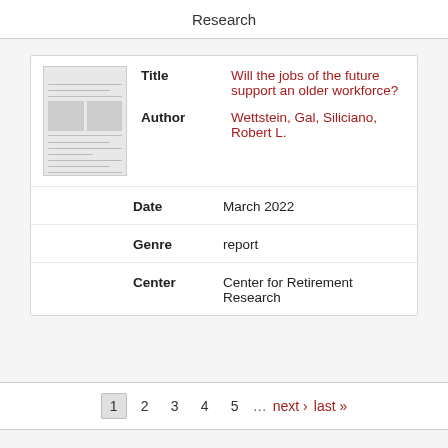Research
| Field | Value |
| --- | --- |
| Title | Will the jobs of the future support an older workforce? |
| Author | Wettstein, Gal, Siliciano, Robert L. |
| Date | March 2022 |
| Genre | report |
| Center | Center for Retirement Research |
1  2  3  4  5  ...  next ›  last »